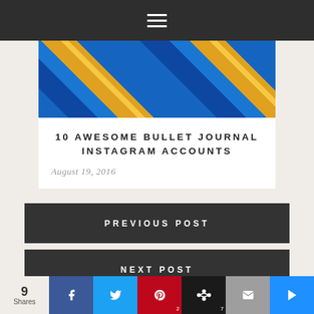≡
[Figure (photo): Close-up photo of blue notebooks/journals with orange stripe detail]
10 AWESOME BULLET JOURNAL INSTAGRAM ACCOUNTS
August 19, 2016
PREVIOUS POST
NEXT POST
LEAVE A COMMENT
9 Shares  f  t  P 2  [buffer] 7  [email]  [crown]